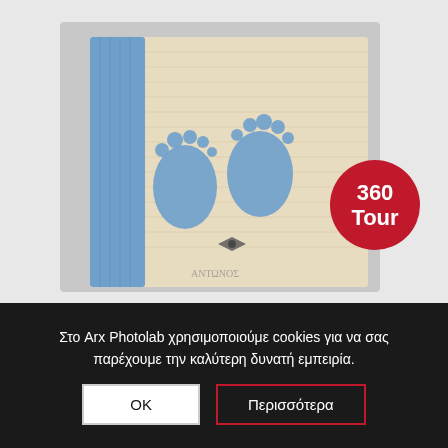[Figure (photo): A wooden baby photo album with blue fabric spine, featuring laser-cut baby footprints design and a small bow tie motif, displayed on a light gray background. A red circular badge in the lower right reads '360 Tour'.]
Στο Arx Photolab χρησιμοποιούμε cookies για να σας παρέχουμε την καλύτερη δυνατή εμπειρία.
ΟΚ
Περισσότερα